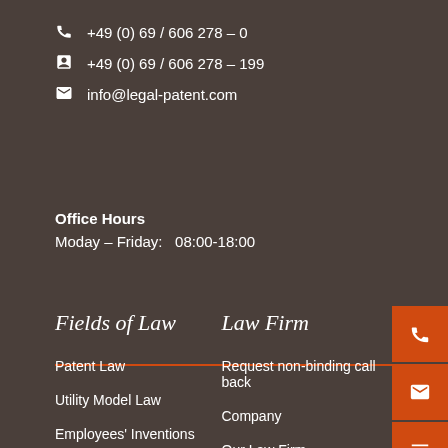+49 (0) 69 / 606 278 – 0
+49 (0) 69 / 606 278 – 199
info@legal-patent.com
Office Hours
Moday – Friday:  08:00-18:00
Fields of Law
Law Firm
Patent Law
Request non-binding call back
Utility Model Law
Company
Employees' Inventions
Our Law Firm
Trademark Law